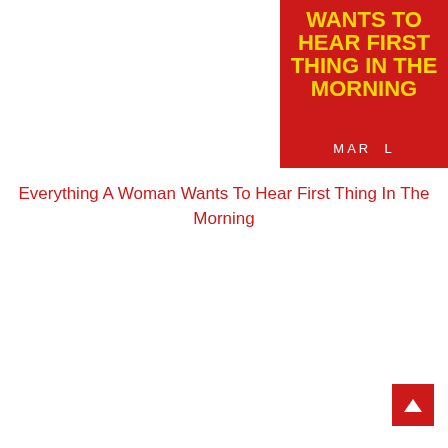[Figure (illustration): Book cover on red background with yellow bold title text 'WANTS TO HEAR FIRST THING IN THE MORNING' and white author text 'MAR L']
Everything A Woman Wants To Hear First Thing In The Morning